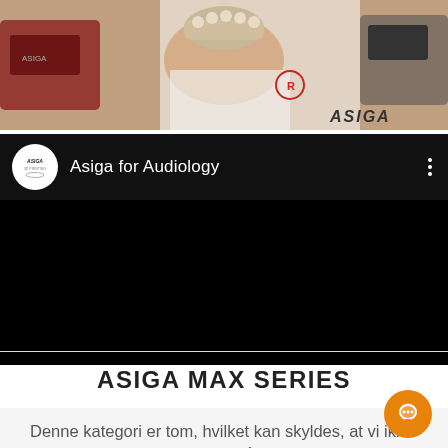[Figure (photo): Person in white lab coat holding a 3D printed dental/jaw model, with ASIGA logo visible at bottom right of the photo. Red 3D printers in background.]
[Figure (screenshot): YouTube-style video embed with black background showing 'Asiga for Audiology' with ASIGA logo circle on left and three-dot menu on right.]
ASIGA MAX SERIES
Denne kategori er tom, hvilket kan skyldes, at vi ikke kan tilbyde produktet i dit område. Kontakt os gerne, eller prø